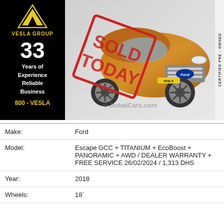[Figure (photo): Vesla Group advertisement showing a 2018 Ford Escape in orange/bronze color with 'SOLD TODAY' stamp overlay. Left panel has black background with Vesla Group logo, '33 Years of Experience Reliable Business' text, and '800-VESLA' phone number in yellow. Right side shows 'CERTIFIED PRE-OWNED' vertical label.]
| Make: | Ford |
| Model: | Escape GCC + TITANIUM + EcoBoost + PANORAMIC + AWD / DEALER WARRANTY + FREE SERVICE 26/02/2024 / 1,313 DHS |
| Year: | 2018 |
| Wheels: | 18´ |